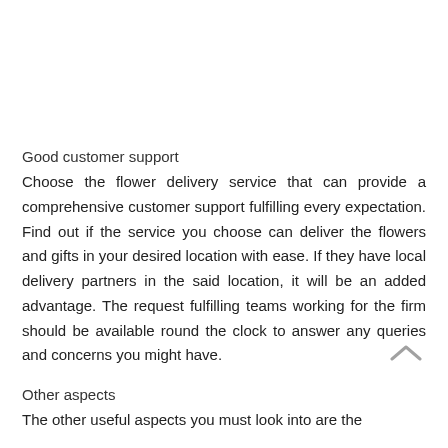Good customer support
Choose the flower delivery service that can provide a comprehensive customer support fulfilling every expectation. Find out if the service you choose can deliver the flowers and gifts in your desired location with ease. If they have local delivery partners in the said location, it will be an added advantage. The request fulfilling teams working for the firm should be available round the clock to answer any queries and concerns you might have.
Other aspects
The other useful aspects you must look into are the